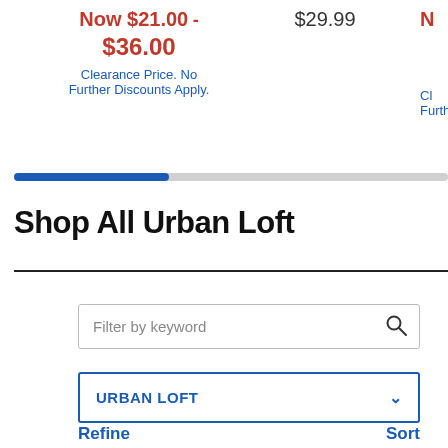Now $21.00 - $36.00 Clearance Price. No Further Discounts Apply.
$29.99
Clearance Price. No Further Discounts Apply. (partial, right-clipped)
Shop All Urban Loft
Filter by keyword
URBAN LOFT
Refine
Sort
New
New